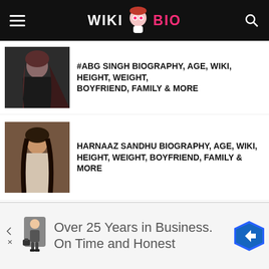WIKI BIO
ABG SINGH BIOGRAPHY, AGE, WIKI, HEIGHT, WEIGHT, BOYFRIEND, FAMILY & MORE
HARNAAZ SANDHU BIOGRAPHY, AGE, WIKI, HEIGHT, WEIGHT, BOYFRIEND, FAMILY & MORE
PATRALEKHA BIOGRAPHY, AGE, WIKI, HEIGHT, WEIGHT, BOYFRIEND, FAMILY & MORE
SWAGGER SHARMA (SHIVAM SHARMA)
Over 25 Years in Business. On Time and Honest